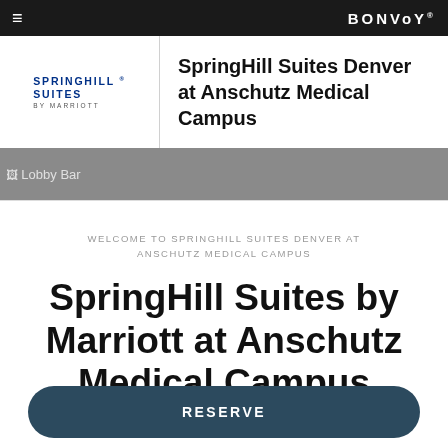≡  BONVOY
[Figure (logo): SpringHill Suites by Marriott logo]
SpringHill Suites Denver at Anschutz Medical Campus
[Figure (photo): Lobby Bar image placeholder]
WELCOME TO SPRINGHILL SUITES DENVER AT ANSCHUTZ MEDICAL CAMPUS
SpringHill Suites by Marriott at Anschutz Medical Campus
RESERVE